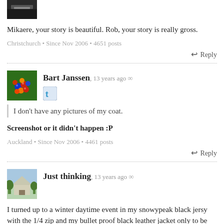[Figure (photo): Partial avatar image at top, dark/black tones, cropped]
Mikaere, your story is beautiful. Rob, your story is really gross.
Christchurch • Since Nov 2006 • 4651 posts
↩ Reply
[Figure (photo): Avatar of Bart Janssen: colorful berries on green background]
Bart Janssen, 13 years ago ∞
[Figure (logo): Twitter bird icon in blue square]
I don't have any pictures of my coat.
Screenshot or it didn't happen :P
Auckland • Since Nov 2006 • 4461 posts
↩ Reply
[Figure (photo): Avatar of Just thinking: house/building with trees]
Just thinking, 13 years ago ∞
I turned up to a winter daytime event in my snowypeak black jersy with the 1/4 zip and my bullet proof black leather jacket only to be